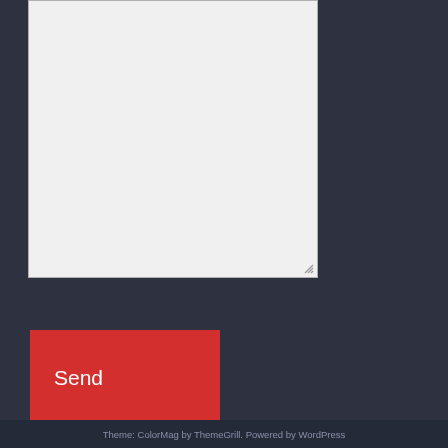[Figure (screenshot): A text area input box with a light gray background and resize handle in the bottom right corner, set against a dark charcoal background.]
Send
Privacy & Cookies: This site uses cookies. By continuing to use this website, you agree to their use.
To find out more, including how to control cookies, see here: Cookie Policy
Close and accept
Theme: ColorMag by ThemeGrill. Powered by WordPress